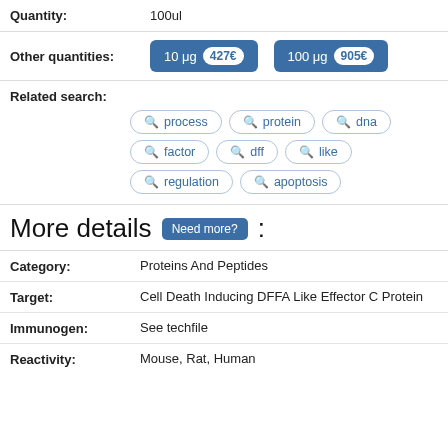Quantity: 100ul
Other quantities: 10 μg 427€ | 100 μg 905€
Related search:
process
protein
dna
factor
dff
like
regulation
apoptosis
More details Need more? :
Category: Proteins And Peptides
Target: Cell Death Inducing DFFA Like Effector C Protein
Immunogen: See techfile
Reactivity: Mouse, Rat, Human